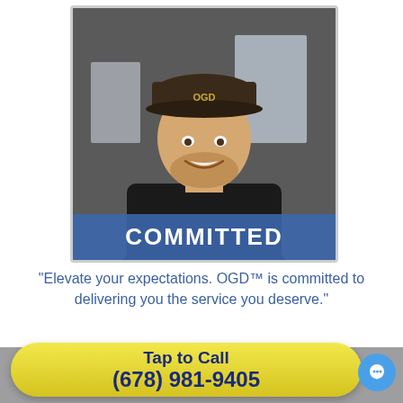[Figure (photo): A smiling young man with a beard wearing a dark polo shirt and an OGD branded cap, standing in front of a garage door. A blue banner at the bottom of the photo reads COMMITTED.]
"Elevate your expectations. OGD™ is committed to delivering you the service you deserve."
Quick & Reliable Garage Door
Tap to Call
(678) 981-9405